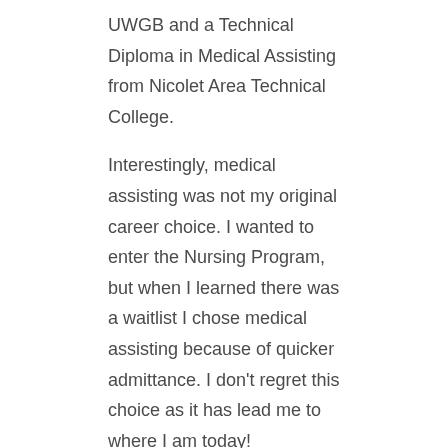UWGB and a Technical Diploma in Medical Assisting from Nicolet Area Technical College.
Interestingly, medical assisting was not my original career choice. I wanted to enter the Nursing Program, but when I learned there was a waitlist I chose medical assisting because of quicker admittance. I don't regret this choice as it has lead me to where I am today!
One of the things I enjoy most about being a medical assistant is working directly with patients. This one-on-one type of care allows me to establish a professional relationship with the patient and allows them to develop trust in me. It is very rewarding to be able to help a person, especially in their time of need.